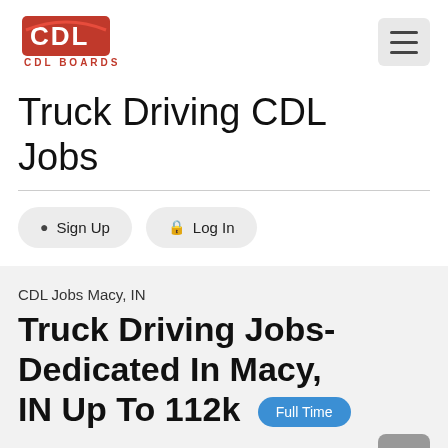[Figure (logo): CDL Boards logo — red stylized CDL letters with 'CDL BOARDS' text below]
Truck Driving CDL Jobs
Sign Up   Log In
CDL Jobs Macy, IN
Truck Driving Jobs-Dedicated In Macy, IN Up To 112k   Full Time